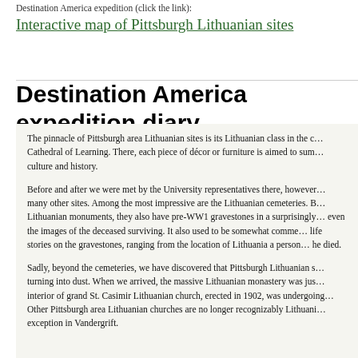Destination America expedition (click the link):
Interactive map of Pittsburgh Lithuanian sites
Destination America expedition diary
The pinnacle of Pittsburgh area Lithuanian sites is its Lithuanian class in the Cathedral of Learning. There, each piece of décor or furniture is aimed to sum culture and history.
Before and after we were met by the University representatives there, however many other sites. Among the most impressive are the Lithuanian cemeteries. Beyond Lithuanian monuments, they also have pre-WW1 gravestones in a surprisingly even the images of the deceased surviving. It also used to be somewhat common to describe life stories on the gravestones, ranging from the location of Lithuania a person was from to how he died.
Sadly, beyond the cemeteries, we have discovered that Pittsburgh Lithuanian sites are turning into dust. When we arrived, the massive Lithuanian monastery was just closed. The interior of grand St. Casimir Lithuanian church, erected in 1902, was undergoing renovation. Other Pittsburgh area Lithuanian churches are no longer recognizably Lithuanian, with a sole exception in Vandergrift.